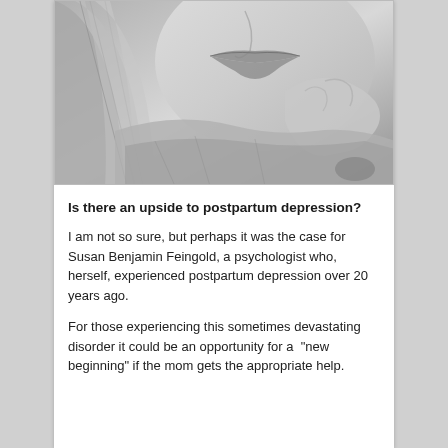[Figure (illustration): Grayscale pencil drawing of a woman's face from the nose down, with long hair and a hand near her chin/mouth, appearing contemplative.]
Is there an upside to postpartum depression?
I am not so sure, but perhaps it was the case for Susan Benjamin Feingold, a psychologist who, herself, experienced postpartum depression over 20 years ago.
For those experiencing this sometimes devastating disorder it could be an opportunity for a “new beginning” if the mom gets the appropriate help.